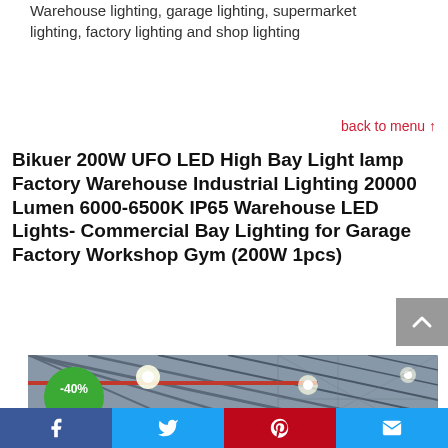Warehouse lighting, garage lighting, supermarket lighting, factory lighting and shop lighting
back to menu ↑
Bikuer 200W UFO LED High Bay Light lamp Factory Warehouse Industrial Lighting 20000 Lumen 6000-6500K IP65 Warehouse LED Lights- Commercial Bay Lighting for Garage Factory Workshop Gym (200W 1pcs)
[Figure (photo): Warehouse interior ceiling with LED high bay lights installed, showing structural beams. A green circle badge shows -40% discount.]